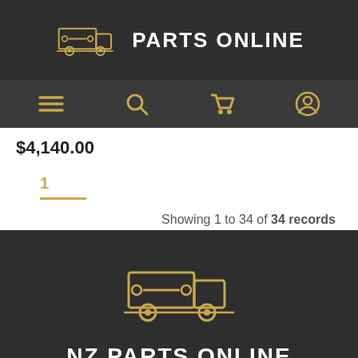PARTS ONLINE
$4,140.00
1
Showing 1 to 34 of 34 records
NZ PARTS ONLINE